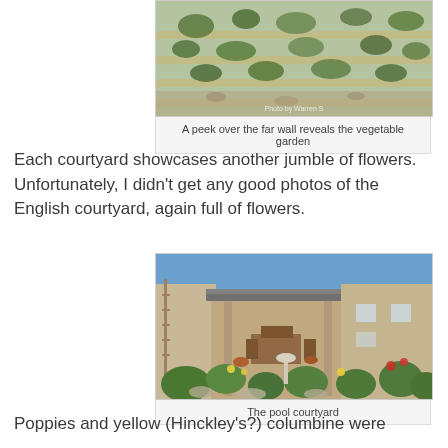[Figure (photo): Aerial/elevated view of a terraced vegetable garden with green plants and rocky soil]
A peek over the far wall reveals the vegetable garden
Each courtyard showcases another jumble of flowers. Unfortunately, I didn't get any good photos of the English courtyard, again full of flowers.
[Figure (photo): Photo of a pool courtyard with a covered patio, wooden furniture, lush garden plants, and a bird bath in the foreground]
The pool courtyard
Poppies and yellow (Hinckley's?) columbine were